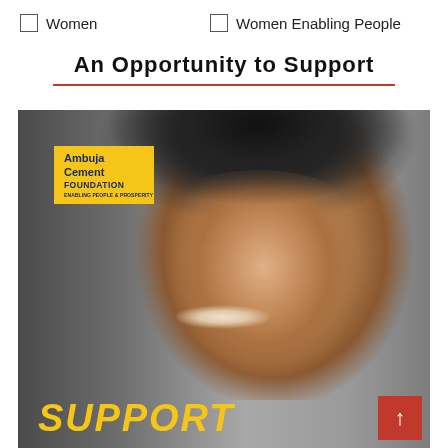☐ Women
☐ Women Enabling People
An Opportunity to Support
[Figure (photo): Photo of a smiling young girl with dark hair, with an Ambuja Cement Foundation logo in the upper-left corner, and the word 'SUPPORT' in gold italic text at the bottom. A red scroll-up button appears in the lower-right corner.]